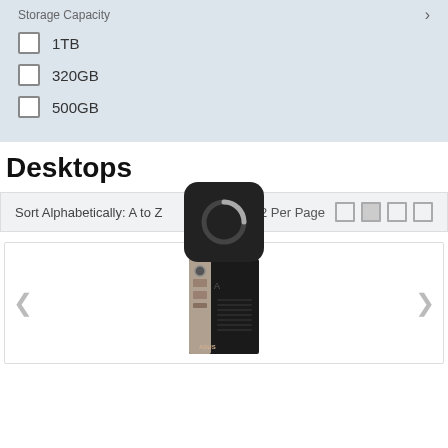Storage Capacity
1TB
320GB
500GB
Desktops
Sort Alphabetically: A to Z  12 Per Page
[Figure (photo): ASUS desktop computer tower, black and silver, slim form factor]